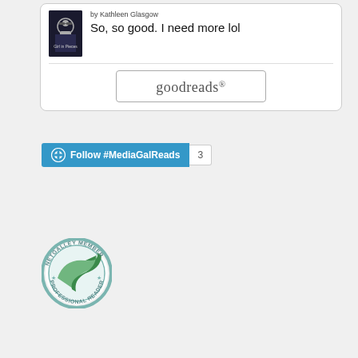[Figure (screenshot): Goodreads widget showing a book by Kathleen Glasgow with review text 'So, so good. I need more lol' and the Goodreads logo button]
[Figure (screenshot): WordPress Follow button for #MediaGalReads with follower count 3]
[Figure (logo): NetGalley Member Professional Reader circular badge logo]